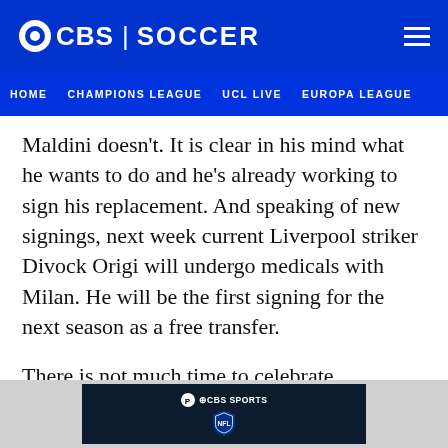CBS | SOCCER
HOME  CHAMPIONS LEAGUE  UCL LIVE  EUROPA LEAGUE
Maldini doesn't. It is clear in his mind what he wants to do and he's already working to sign his replacement. And speaking of new signings, next week current Liverpool striker Divock Origi will undergo medicals with Milan. He will be the first signing for the next season as a free transfer.
There is not much time to celebrate. Maldini's mission has just started. The Serie A title is only the first trophy, Milan's ambition is to try to win every year like they did when Maldini was the best
[Figure (screenshot): CBS Sports NFL advertisement banner at the bottom of the page]